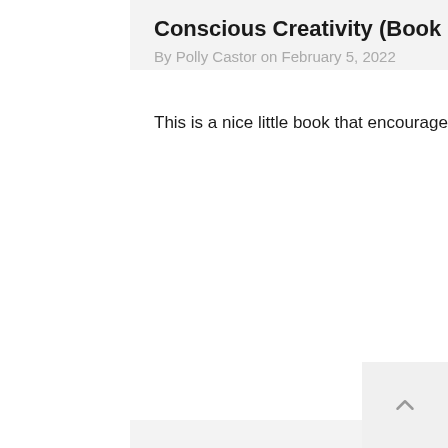Conscious Creativity (Book Review)
By Polly Castor on February 5, 2022
This is a nice little book that encourages us to take in more of what is around us–the...
2  0